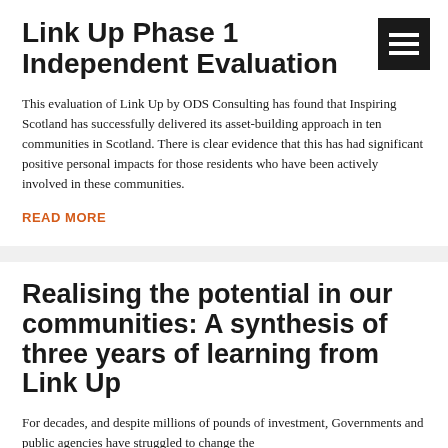Link Up Phase 1 Independent Evaluation
This evaluation of Link Up by ODS Consulting has found that Inspiring Scotland has successfully delivered its asset-building approach in ten communities in Scotland. There is clear evidence that this has had significant positive personal impacts for those residents who have been actively involved in these communities.
READ MORE
Realising the potential in our communities: A synthesis of three years of learning from Link Up
For decades, and despite millions of pounds of investment, Governments and public agencies have struggled to change the